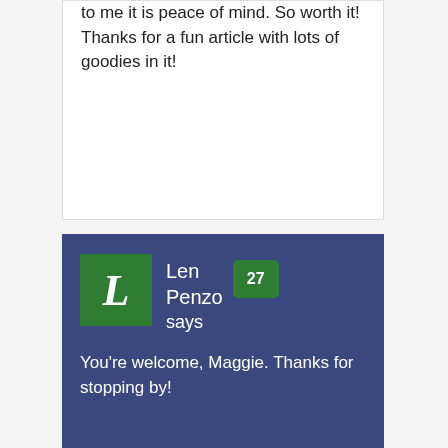to me it is peace of mind. So worth it! Thanks for a fun article with lots of goodies in it!
Len Penzo says
You're welcome, Maggie. Thanks for stopping by!